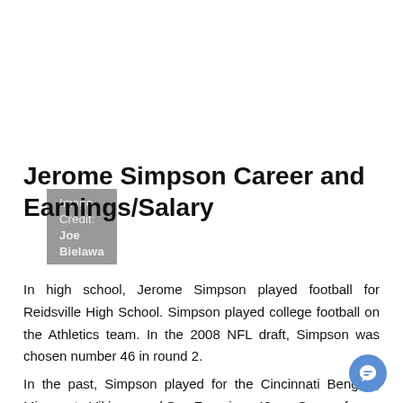Image Credit: Joe Bielawa
Jerome Simpson Career and Earnings/Salary
In high school, Jerome Simpson played football for Reidsville High School. Simpson played college football on the Athletics team. In the 2008 NFL draft, Simpson was chosen number 46 in round 2.
In the past, Simpson played for the Cincinnati Bengals, Minnesota Vikings, and San Francisco 49ers. Some of